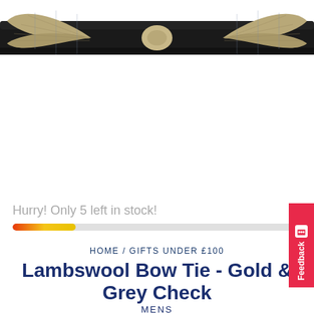[Figure (photo): Product photo of a lambswool bow tie in gold and grey check pattern, mounted on a black collar band display, photographed against a white background.]
Hurry! Only 5 left in stock!
HOME / GIFTS UNDER £100
Lambswool Bow Tie - Gold & Grey Check
MENS